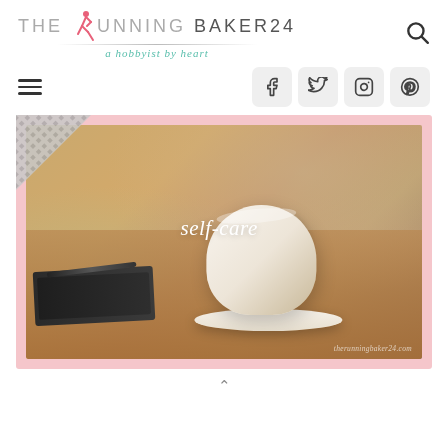THE RUNNING BAKER24 — a hobbyist by heart
[Figure (logo): The Running Baker 24 logo with running figure icon and tagline 'a hobbyist by heart']
[Figure (infographic): Navigation bar with hamburger menu and social media icons for Facebook, Twitter, Instagram, Pinterest]
[Figure (photo): A white coffee cup on a saucer on a wooden table with a notebook and pen, overlaid with 'self-care' text in white italic script. Pink/peach decorative background with hatch-pattern corner decoration. Watermark: therunningbaker24.com]